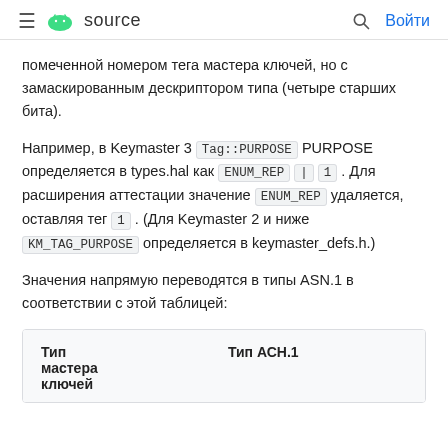≡ 🤖 source   🔍 Войти
помеченной номером тега мастера ключей, но с замаскированным дескриптором типа (четыре старших бита).
Например, в Keymaster 3 Tag::PURPOSE PURPOSE определяется в types.hal как ENUM_REP | 1 . Для расширения аттестации значение ENUM_REP удаляется, оставляя тег 1 . (Для Keymaster 2 и ниже KM_TAG_PURPOSE определяется в keymaster_defs.h.)
Значения напрямую переводятся в типы ASN.1 в соответствии с этой таблицей:
| Тип мастера ключей | Тип АСН.1 |
| --- | --- |